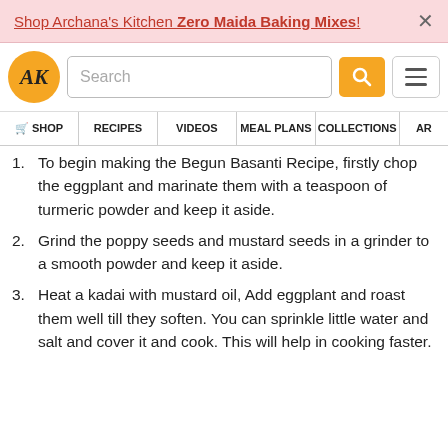Shop Archana's Kitchen Zero Maida Baking Mixes!
[Figure (screenshot): Archana's Kitchen website navigation bar with AK logo, search box, search button, and hamburger menu]
[Figure (screenshot): Website menu bar with items: SHOP, RECIPES, VIDEOS, MEAL PLANS, COLLECTIONS, AR...]
To begin making the Begun Basanti Recipe, firstly chop the eggplant and marinate them with a teaspoon of turmeric powder and keep it aside.
Grind the poppy seeds and mustard seeds in a grinder to a smooth powder and keep it aside.
Heat a kadai with mustard oil, Add eggplant and roast them well till they soften. You can sprinkle little water and salt and cover it and cook. This will help in cooking faster.